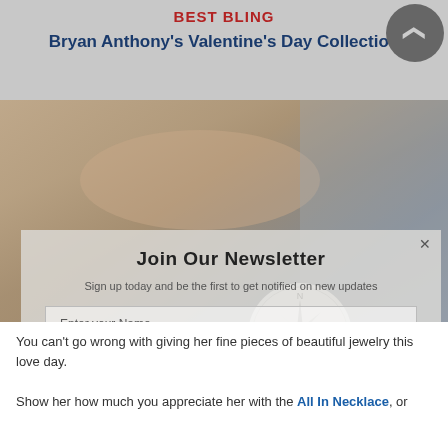BEST BLING
Bryan Anthony's Valentine's Day Collection
[Figure (screenshot): Newsletter sign-up overlay on top of a blurred background photo showing a hand holding a compass necklace and a knit fabric texture. Overlay contains 'Join Our Newsletter' heading, subtitle, name/email fields, and Subscribe Now button.]
You can't go wrong with giving her fine pieces of beautiful jewelry this love day. Show her how much you appreciate her with the All In Necklace, or